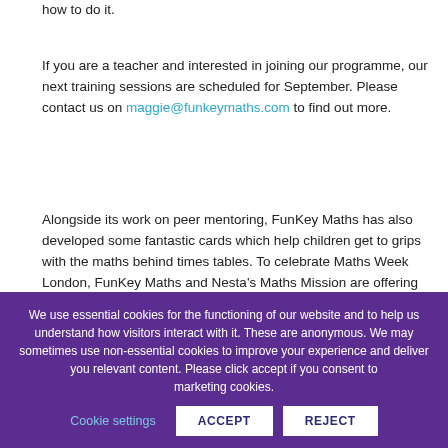how to do it.
If you are a teacher and interested in joining our programme, our next training sessions are scheduled for September. Please contact us on maggie@funkeymaths.com to find out more.
Alongside its work on peer mentoring, FunKey Maths has also developed some fantastic cards which help children get to grips with the maths behind times tables. To celebrate Maths Week London, FunKey Maths and Nesta's Maths Mission are offering 50 free packs of times tables cards so you can try them out at home or in school. To get your free pack, you will need to use the coupon code LONDON. Free cards are only available to the first 50 customers using the coupon. One free pack
We use essential cookies for the functioning of our website and to help us understand how visitors interact with it. These are anonymous. We may sometimes use non-essential cookies to improve your experience and deliver you relevant content. Please click accept if you consent to marketing cookies. Cookie settings ACCEPT REJECT